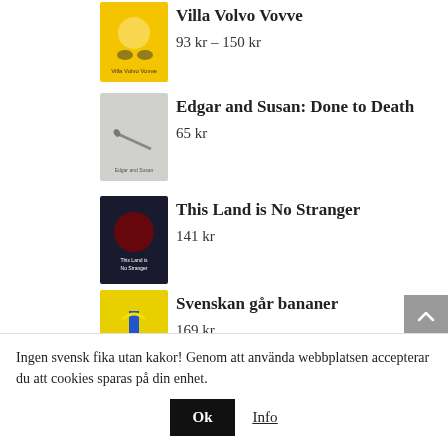[Figure (illustration): Book cover for Villa Volvo Vovve - yellow cover with illustrated dog and car]
Villa Volvo Vovve
93 kr – 150 kr
[Figure (illustration): Book cover for Edgar and Susan: Done to Death - grey/white cover with pen nib]
Edgar and Susan: Done to Death
65 kr
[Figure (illustration): Book cover for This Land is No Stranger - dark cover with red and white text]
This Land is No Stranger
141 kr
[Figure (illustration): Book cover for Svenskan går bananer - yellow cover with banana illustration]
Svenskan går bananer
169 kr
[Figure (illustration): Book cover for Working in Sweden NEW EDITION - pink/red cover]
Working in Sweden | NEW EDITION
142 kr
Ingen svensk fika utan kakor! Genom att använda webbplatsen accepterar du att cookies sparas på din enhet.